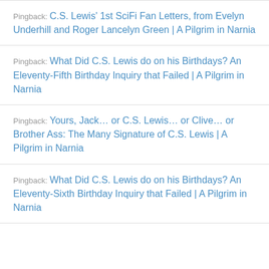Pingback: C.S. Lewis' 1st SciFi Fan Letters, from Evelyn Underhill and Roger Lancelyn Green | A Pilgrim in Narnia
Pingback: What Did C.S. Lewis do on his Birthdays? An Eleventy-Fifth Birthday Inquiry that Failed | A Pilgrim in Narnia
Pingback: Yours, Jack… or C.S. Lewis… or Clive… or Brother Ass: The Many Signature of C.S. Lewis | A Pilgrim in Narnia
Pingback: What Did C.S. Lewis do on his Birthdays? An Eleventy-Sixth Birthday Inquiry that Failed | A Pilgrim in Narnia